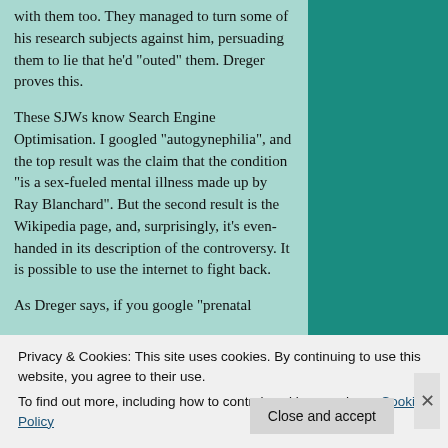with them too. They managed to turn some of his research subjects against him, persuading them to lie that he'd "outed" them. Dreger proves this.
These SJWs know Search Engine Optimisation. I googled "autogynephilia", and the top result was the claim that the condition "is a sex-fueled mental illness made up by Ray Blanchard". But the second result is the Wikipedia page, and, surprisingly, it's even-handed in its description of the controversy. It is possible to use the internet to fight back.
As Dreger says, if you google "prenatal
Privacy & Cookies: This site uses cookies. By continuing to use this website, you agree to their use.
To find out more, including how to control cookies, see here: Cookie Policy